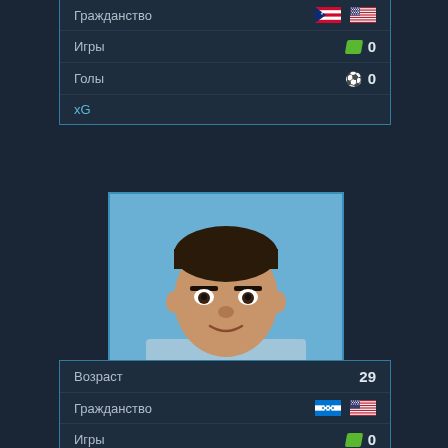| Label | Value |
| --- | --- |
| Гражданство | 🇵🇷 🇺🇸 |
| Игры | 0 |
| Голы | 0 |
| xG |  |
[Figure (photo): Player headshot of Kelly-Rosales Angelo against light blue background]
KELLY-ROSALES ANGELO
| Label | Value |
| --- | --- |
| Возраст | 29 |
| Гражданство | 🇭🇳 🇺🇸 |
| Игры | 0 |
| Голы | 0 |